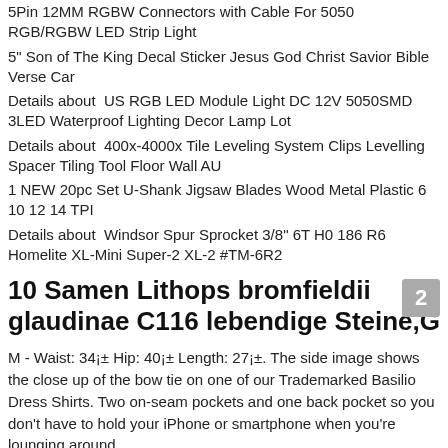5Pin 12MM RGBW Connectors with Cable For 5050 RGB/RGBW LED Strip Light
5" Son of The King Decal Sticker Jesus God Christ Savior Bible Verse Car
Details about  US RGB LED Module Light DC 12V 5050SMD 3LED Waterproof Lighting Decor Lamp Lot
Details about  400x-4000x Tile Leveling System Clips Levelling Spacer Tiling Tool Floor Wall AU
1 NEW 20pc Set U-Shank Jigsaw Blades Wood Metal Plastic 6 10 12 14 TPI
Details about  Windsor Spur Sprocket 3/8" 6T H0 186 R6 Homelite XL-Mini Super-2 XL-2 #TM-6R2
10 Samen Lithops bromfieldii glaudinae C116 lebendige Steine,G
M - Waist: 34¡± Hip: 40¡± Length: 27¡±. The side image shows the close up of the bow tie on one of our Trademarked Basilio Dress Shirts. Two on-seam pockets and one back pocket so you don't have to hold your iPhone or smartphone when you're lounging around